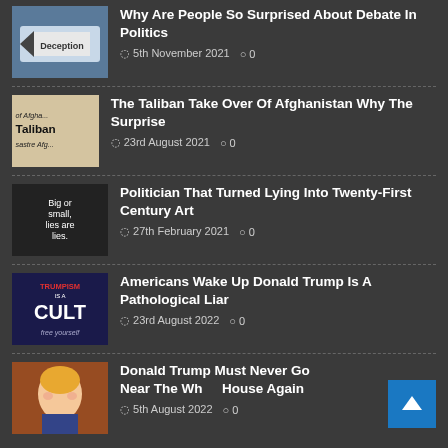Why Are People So Surprised About Debate In Politics — 5th November 2021 — 0 comments
The Taliban Take Over Of Afghanistan Why The Surprise — 23rd August 2021 — 0 comments
Politician That Turned Lying Into Twenty-First Century Art — 27th February 2021 — 0 comments
Americans Wake Up Donald Trump Is A Pathological Liar — 23rd August 2022 — 0 comments
Donald Trump Must Never Go Near The White House Again — 5th August 2022 — 0 comments